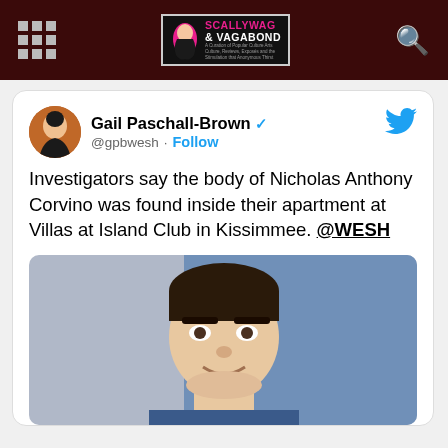Scallywag & Vagabond
[Figure (screenshot): Tweet by Gail Paschall-Brown (@gpbwesh) with blue verified checkmark and Follow button. Tweet text: Investigators say the body of Nicholas Anthony Corvino was found inside their apartment at Villas at Island Club in Kissimmee. @WESH. Below the text is a photo of a young white male with dark hair, likely a booking photo or ID photo with blue background.]
Investigators say the body of Nicholas Anthony Corvino was found inside their apartment at Villas at Island Club in Kissimmee. @WESH